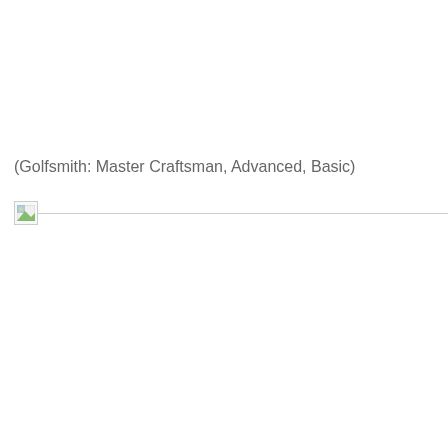(Golfsmith: Master Craftsman, Advanced, Basic)
[Figure (other): Broken image placeholder with a small icon and a horizontal divider line extending to the right.]